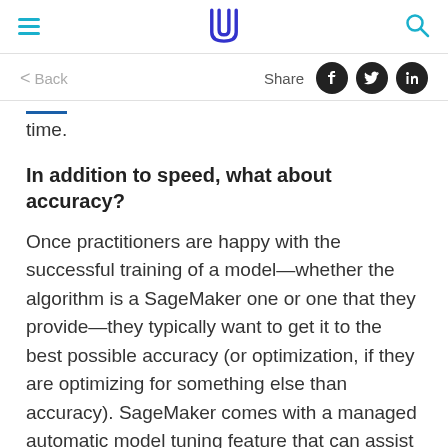time.
In addition to speed, what about accuracy?
Once practitioners are happy with the successful training of a model—whether the algorithm is a SageMaker one or one that they provide—they typically want to get it to the best possible accuracy (or optimization, if they are optimizing for something else than accuracy). SageMaker comes with a managed automatic model tuning feature that can assist with the search of the best possible